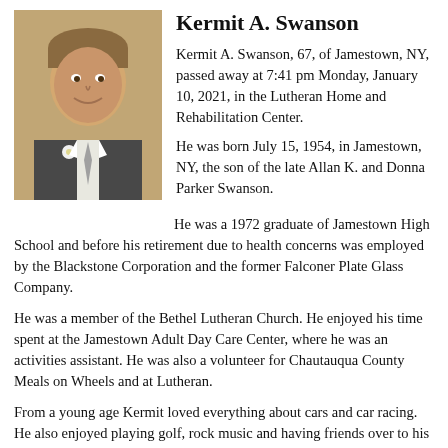[Figure (photo): Portrait photo of Kermit A. Swanson, a middle-aged man in a suit with a white flower, smiling.]
Kermit A. Swanson
Kermit A. Swanson, 67, of Jamestown, NY, passed away at 7:41 pm Monday, January 10, 2021, in the Lutheran Home and Rehabilitation Center.
He was born July 15, 1954, in Jamestown, NY, the son of the late Allan K. and Donna Parker Swanson.
He was a 1972 graduate of Jamestown High School and before his retirement due to health concerns was employed by the Blackstone Corporation and the former Falconer Plate Glass Company.
He was a member of the Bethel Lutheran Church. He enjoyed his time spent at the Jamestown Adult Day Care Center, where he was an activities assistant. He was also a volunteer for Chautauqua County Meals on Wheels and at Lutheran.
From a young age Kermit loved everything about cars and car racing. He also enjoyed playing golf, rock music and having friends over to his home to shoot pool or relax on the deck. He had